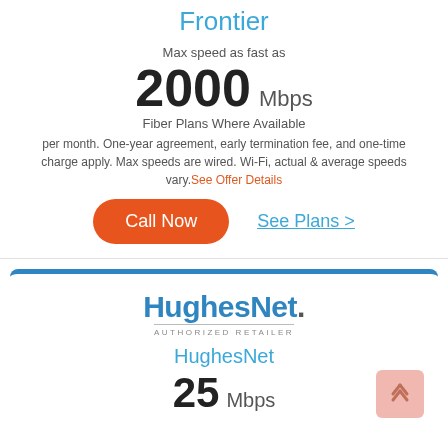Frontier
Max speed as fast as
2000 Mbps
Fiber Plans Where Available
per month. One-year agreement, early termination fee, and one-time charge apply. Max speeds are wired. Wi-Fi, actual & average speeds vary. See Offer Details
Call Now
See Plans >
[Figure (logo): HughesNet Authorized Retailer logo]
HughesNet
25 Mbps